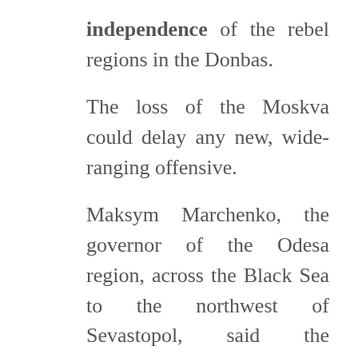independence of the rebel regions in the Donbas.
The loss of the Moskva could delay any new, wide-ranging offensive.
Maksym Marchenko, the governor of the Odesa region, across the Black Sea to the northwest of Sevastopol, said the Ukrainians struck the ship with two Neptune missiles and caused “serious damage.”
Russia’s Defense Ministry said ammunition on board detonated as a result of a fire, without saying what